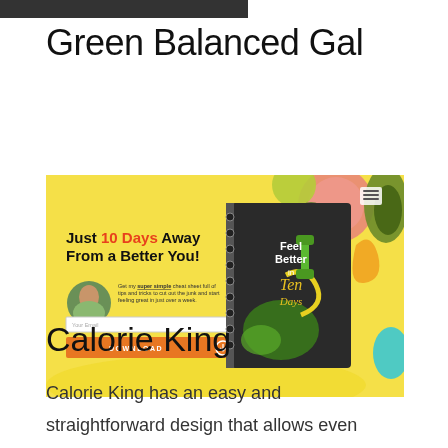Green Balanced Gal
[Figure (screenshot): Screenshot of Green Balanced Gal website showing a landing page with yellow background. Text reads 'Just 10 Days Away From a Better You!' with a 'Feel Better in Ten Days' book cover, email input field, and orange Download button. Fruits visible in background.]
Calorie King
Calorie King has an easy and straightforward design that allows even basic computer users to navigate the